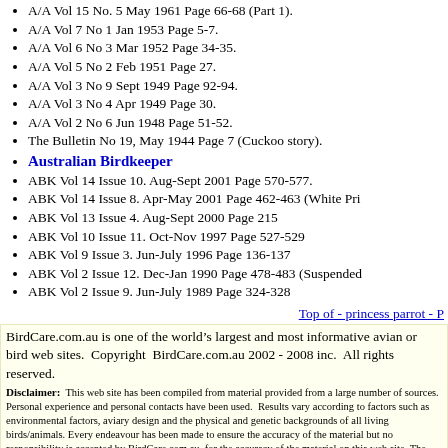A/A Vol 15 No. 5 May 1961 Page 66-68 (Part 1).
A/A Vol 7 No 1 Jan 1953 Page 5-7.
A/A Vol 6 No 3 Mar 1952 Page 34-35.
A/A Vol 5 No 2 Feb 1951 Page 27.
A/A Vol 3 No 9 Sept 1949 Page 92-94.
A/A Vol 3 No 4 Apr 1949 Page 30.
A/A Vol 2 No 6 Jun 1948 Page 51-52.
The Bulletin No 19, May 1944 Page 7 (Cuckoo story).
Australian Birdkeeper
ABK Vol 14 Issue 10. Aug-Sept 2001 Page 570-577.
ABK Vol 14 Issue 8. Apr-May 2001 Page 462-463 (White Pri...
ABK Vol 13 Issue 4. Aug-Sept 2000 Page 215
ABK Vol 10 Issue 11. Oct-Nov 1997 Page 527-529
ABK Vol 9 Issue 3. Jun-July 1996 Page 136-137
ABK Vol 2 Issue 12. Dec-Jan 1990 Page 478-483 (Suspended...
ABK Vol 2 Issue 9. Jun-July 1989 Page 324-328
Top of - princess parrot - P...
BirdCare.com.au is one of the world's largest and most informative avian or bird web sites. Copyright BirdCare.com.au 2002 - 2008 inc. All rights reserved.
Disclaimer: This web site has been compiled from material provided from a large number of sources. Personal experience and personal contacts have been used. Results vary according to factors such as environmental factors, aviary design and the physical and genetic backgrounds of all living birds/animals. Every endeavour has been made to ensure the accuracy of the material but no responsibility is accepted by BirdCare.com.au for the accuracy of the material on this web site. The intent of this web site is to provide a "care sheet" format and provide general material only. Readers should rely upon their own enquiries in making any decisions relating to their own interests.